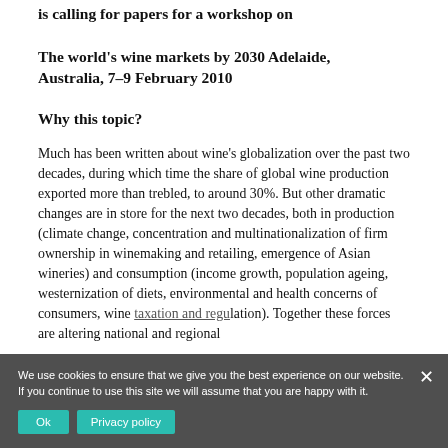is calling for papers for a workshop on
The world's wine markets by 2030 Adelaide, Australia, 7–9 February 2010
Why this topic?
Much has been written about wine's globalization over the past two decades, during which time the share of global wine production exported more than trebled, to around 30%. But other dramatic changes are in store for the next two decades, both in production (climate change, concentration and multinationalization of firm ownership in winemaking and retailing, emergence of Asian wineries) and consumption (income growth, population ageing, westernization of diets, environmental and health concerns of consumers, wine taxation and regulation). Together these forces are altering national and regional
We use cookies to ensure that we give you the best experience on our website. If you continue to use this site we will assume that you are happy with it.